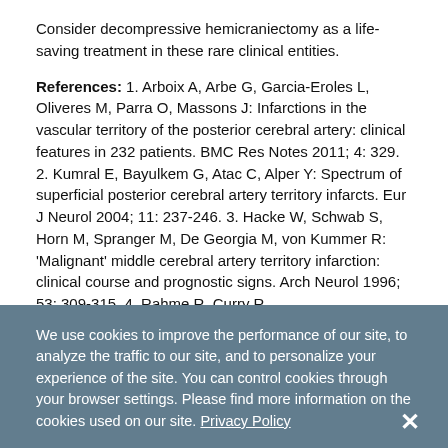Consider decompressive hemicraniectomy as a life-saving treatment in these rare clinical entities.
References: 1. Arboix A, Arbe G, Garcia-Eroles L, Oliveres M, Parra O, Massons J: Infarctions in the vascular territory of the posterior cerebral artery: clinical features in 232 patients. BMC Res Notes 2011; 4: 329. 2. Kumral E, Bayulkem G, Atac C, Alper Y: Spectrum of superficial posterior cerebral artery territory infarcts. Eur J Neurol 2004; 11: 237-246. 3. Hacke W, Schwab S, Horn M, Spranger M, De Georgia M, von Kummer R: 'Malignant' middle cerebral artery territory infarction: clinical course and prognostic signs. Arch Neurol 1996; 53: 309-315. 4. Rahme R, Curry R,
We use cookies to improve the performance of our site, to analyze the traffic to our site, and to personalize your experience of the site. You can control cookies through your browser settings. Please find more information on the cookies used on our site. Privacy Policy